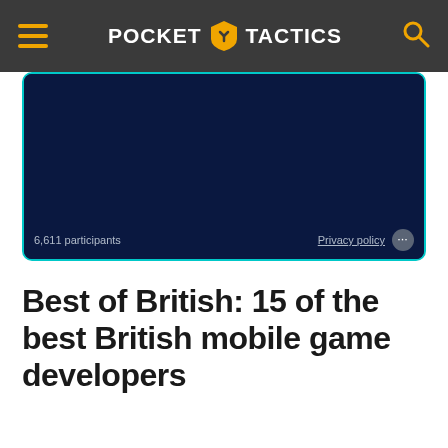POCKET TACTICS
[Figure (screenshot): Dark navy blue poll or embedded widget area with a teal/cyan border. Shows '6,611 participants' in the bottom left and 'Privacy policy' link with a dots menu button in the bottom right.]
Best of British: 15 of the best British mobile game developers